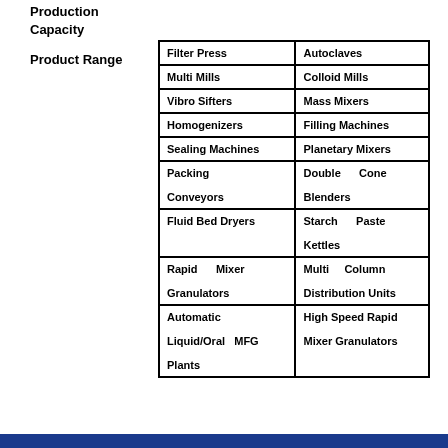Production
Capacity
Product Range
| Filter Press | Autoclaves |
| Multi Mills | Colloid Mills |
| Vibro Sifters | Mass Mixers |
| Homogenizers | Filling Machines |
| Sealing Machines | Planetary Mixers |
| Packing Conveyors | Double Cone Blenders |
| Fluid Bed Dryers | Starch Paste Kettles |
| Rapid Mixer Granulators | Multi Column Distribution Units |
| Automatic Liquid/Oral MFG Plants | High Speed Rapid Mixer Granulators |